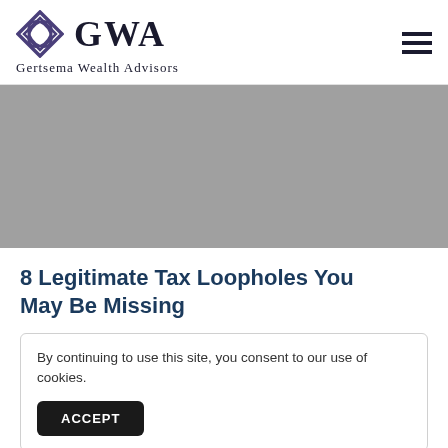GWA Gertsema Wealth Advisors
[Figure (photo): Gray placeholder hero image for article]
8 Legitimate Tax Loopholes You May Be Missing
By continuing to use this site, you consent to our use of cookies.
ACCEPT